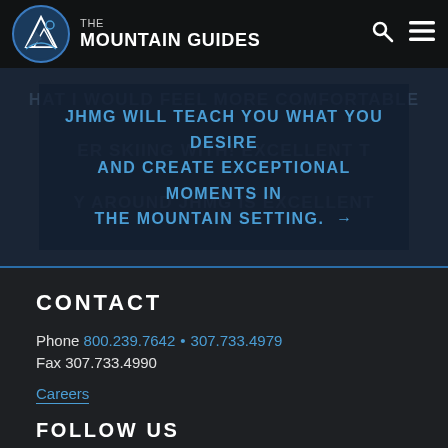THE MOUNTAIN GUIDES
JHMG WILL TEACH YOU WHAT YOU DESIRE AND CREATE EXCEPTIONAL MOMENTS IN THE MOUNTAIN SETTING. →
CONTACT
Phone 800.239.7642 • 307.733.4979
Fax 307.733.4990
Careers
FOLLOW US